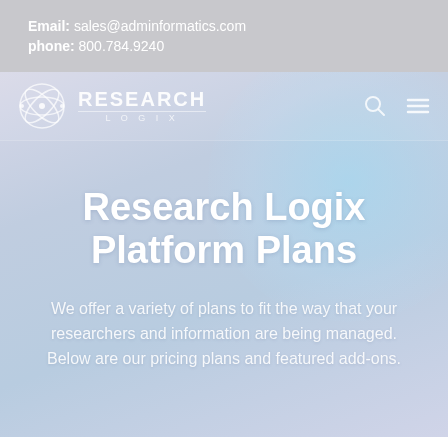Email: sales@adminformatics.com
phone: 800.784.9240
[Figure (logo): Research Logix logo with atom icon and navigation bar including search and menu icons]
Research Logix Platform Plans
We offer a variety of plans to fit the way that your researchers and information are being managed. Below are our pricing plans and featured add-ons.